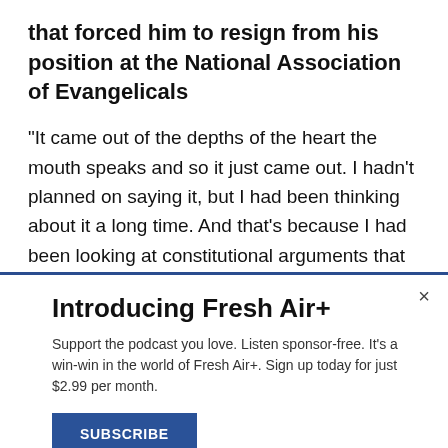that forced him to resign from his position at the National Association of Evangelicals
"It came out of the depths of the heart the mouth speaks and so it just came out. I hadn't planned on saying it, but I had been thinking about it a long time. And that's because I had been looking at constitutional arguments that are now being weighed by the California Supreme Court. In other words, can we deny rights to others whose rights we don't especially
Introducing Fresh Air+
Support the podcast you love. Listen sponsor-free. It's a win-win in the world of Fresh Air+. Sign up today for just $2.99 per month.
SUBSCRIBE